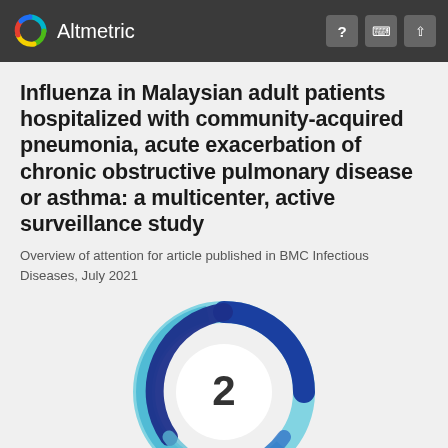Altmetric
Influenza in Malaysian adult patients hospitalized with community-acquired pneumonia, acute exacerbation of chronic obstructive pulmonary disease or asthma: a multicenter, active surveillance study
Overview of attention for article published in BMC Infectious Diseases, July 2021
[Figure (donut-chart): Altmetric donut chart showing score of 2, rendered as a multicolored spiral/donut in shades of blue and teal with the number 2 in the center]